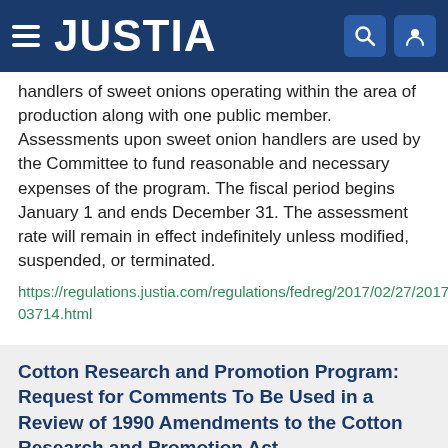JUSTIA
handlers of sweet onions operating within the area of production along with one public member. Assessments upon sweet onion handlers are used by the Committee to fund reasonable and necessary expenses of the program. The fiscal period begins January 1 and ends December 31. The assessment rate will remain in effect indefinitely unless modified, suspended, or terminated.
https://regulations.justia.com/regulations/fedreg/2017/02/27/2017-03714.html
Cotton Research and Promotion Program: Request for Comments To Be Used in a Review of 1990 Amendments to the Cotton Research and Promotion Act
Document Number: 2017-03709
Type: Notice
Date: 2017-02-27